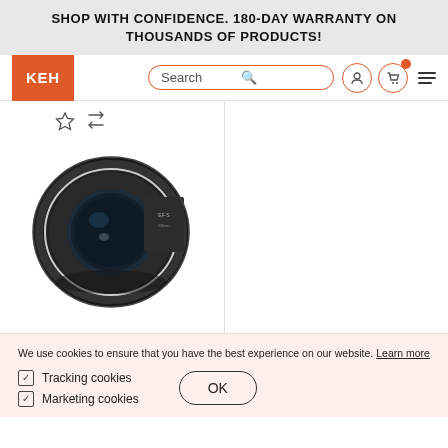SHOP WITH CONFIDENCE. 180-DAY WARRANTY ON THOUSANDS OF PRODUCTS!
[Figure (logo): KEH camera logo in orange rectangle]
[Figure (screenshot): Search bar with orange border and search icon]
[Figure (photo): Canon camera lens product photo on white background]
We use cookies to ensure that you have the best experience on our website. Learn more
Tracking cookies
Marketing cookies